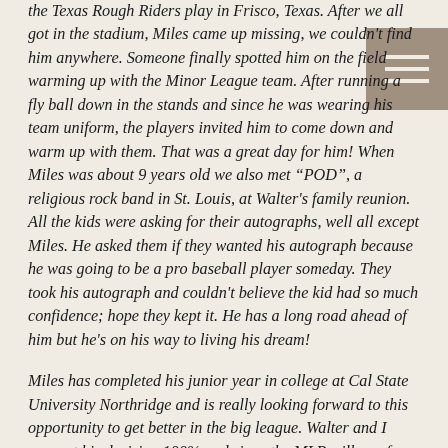the Texas Rough Riders play in Frisco, Texas. After we all got in the stadium, Miles came up missing, we couldn't find him anywhere. Someone finally spotted him on the field warming up with the Minor League team. After running a fly ball down in the stands and since he was wearing his team uniform, the players invited him to come down and warm up with them. That was a great day for him! When Miles was about 9 years old we also met "POD", a religious rock band in St. Louis, at Walter's family reunion. All the kids were asking for their autographs, well all except Miles. He asked them if they wanted his autograph because he was going to be a pro baseball player someday. They took his autograph and couldn't believe the kid had so much confidence; hope they kept it. He has a long road ahead of him but he's on his way to living his dream!
Miles has completed his junior year in college at Cal State University Northridge and is really looking forward to this opportunity to get better in the big league. Walter and I support his decision 100% and since the MLB will pay for him to finish up college later he just can't seem to lose. Hopefully he will finalize his plans in the next few days and